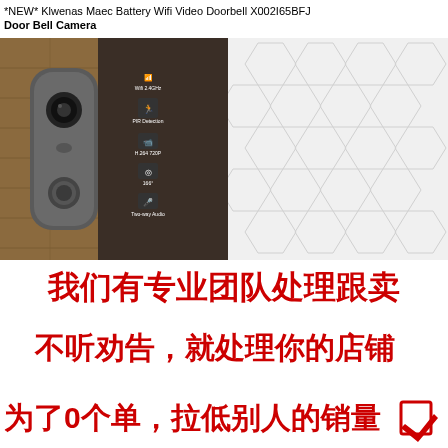*NEW* Klwenas Maec Battery Wifi Video Doorbell X002I65BFJ Door Bell Camera
[Figure (photo): Product photo of a smart video doorbell camera mounted on a brick wall next to a dark door, with feature icons listed: Wifi 2.4GHz, PIR Detection, H.264 720P, 166°, Two-way Audio. Right side shows a hexagonal pattern background.]
我们有专业团队处理跟卖
不听劝告，就处理你的店铺
为了0个单，拉低别人的销量 ▽捏生